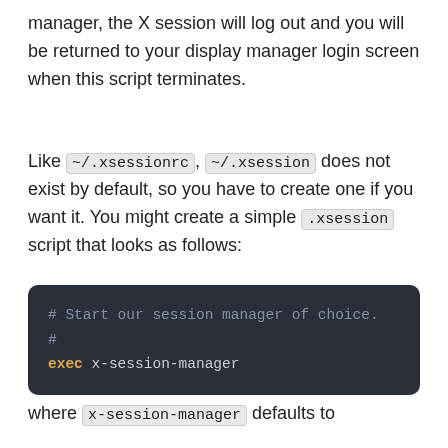manager, the X session will log out and you will be returned to your display manager login screen when this script terminates.
Like ~/.xsessionrc, ~/.xsession does not exist by default, so you have to create one if you want it. You might create a simple .xsession script that looks as follows:
[Figure (screenshot): Dark code block showing shell script: '# Start our session manager of choice.
#
exec x-session-manager']
where x-session-manager defaults to